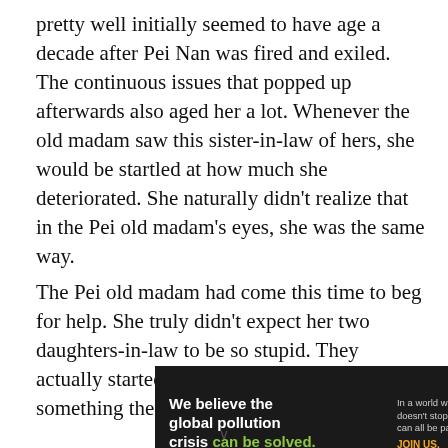pretty well initially seemed to have age a decade after Pei Nan was fired and exiled. The continuous issues that popped up afterwards also aged her a lot. Whenever the old madam saw this sister-in-law of hers, she would be startled at how much she deteriorated. She naturally didn't realize that in the Pei old madam's eyes, she was the same way.
The Pei old madam had come this time to beg for help. She truly didn't expect her two daughters-in-law to be so stupid. They actually started a fight and ended up revealing something they shouldn't have.
[Figure (other): Advertisement banner for Pure Earth organization. Left dark panel: 'We believe the global pollution crisis can be solved.' with tagline 'In a world where pollution doesn't stop at borders, we can all be part of the solution.' and 'JOIN US.' Right white panel: Pure Earth logo (diamond shape with leaf/drop icon) and text 'PURE EARTH'.]
v